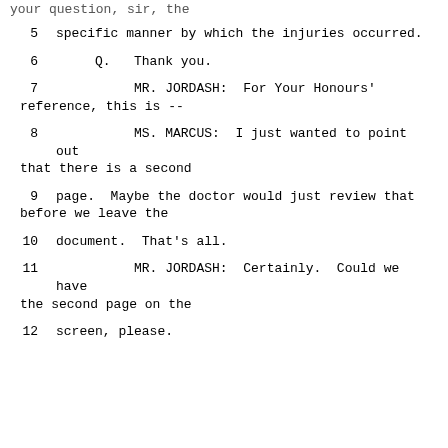your question, sir, the
5    specific manner by which the injuries occurred.
6         Q.   Thank you.
7              MR. JORDASH:  For Your Honours' reference, this is --
8              MS. MARCUS:  I just wanted to point out that there is a second
9    page.  Maybe the doctor would just review that before we leave the
10    document.  That's all.
11             MR. JORDASH:  Certainly.  Could we have the second page on the
12    screen, please.